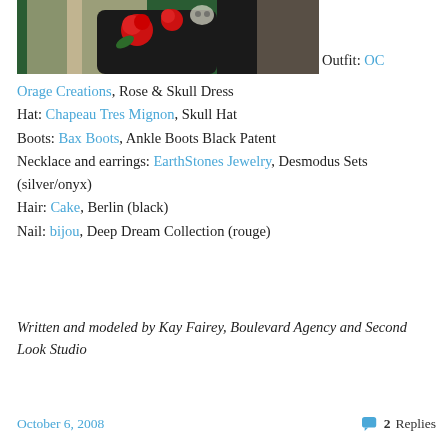[Figure (photo): A 3D avatar/virtual character wearing a black dress with red roses and skull pattern. The image is cropped showing the upper body area.]
Outfit: OC Orage Creations, Rose & Skull Dress
Hat: Chapeau Tres Mignon, Skull Hat
Boots: Bax Boots, Ankle Boots Black Patent
Necklace and earrings: EarthStones Jewelry, Desmodus Sets (silver/onyx)
Hair: Cake, Berlin (black)
Nail: bijou, Deep Dream Collection (rouge)
Written and modeled by Kay Fairey, Boulevard Agency and Second Look Studio
October 6, 2008   2 Replies